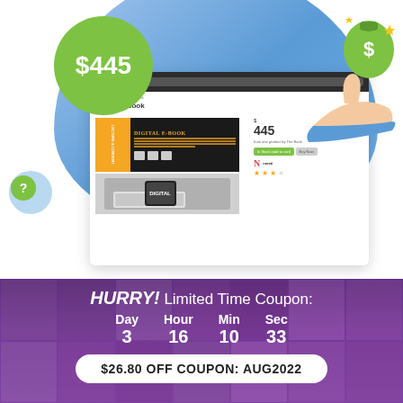[Figure (illustration): Promotional advertisement image showing a digital e-book product page screenshot with a green circle showing $445 price, a hand holding a money bag, and a purple countdown timer section at bottom]
$445
Digital E-Book
DIGITAL E-BOOK
445
HURRY! Limited Time Coupon:
Day 3
Hour 16
Min 10
Sec 33
$26.80 OFF COUPON: AUG2022